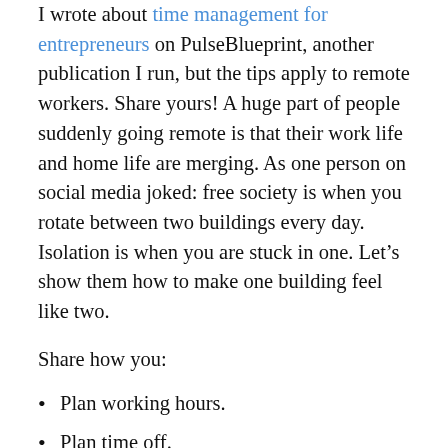I wrote about time management for entrepreneurs on PulseBlueprint, another publication I run, but the tips apply to remote workers. Share yours! A huge part of people suddenly going remote is that their work life and home life are merging. As one person on social media joked: free society is when you rotate between two buildings every day. Isolation is when you are stuck in one. Let's show them how to make one building feel like two.
Share how you:
Plan working hours.
Plan time off.
Get into work mode without leaving your house.
How you avoid “well my laptop is right there”